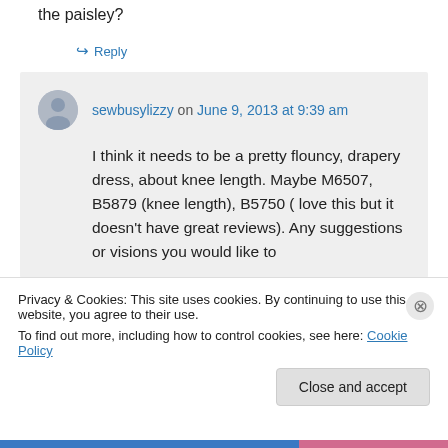the paisley?
↪ Reply
sewbusylizzy on June 9, 2013 at 9:39 am
I think it needs to be a pretty flouncy, drapery dress, about knee length. Maybe M6507, B5879 (knee length), B5750 ( love this but it doesn't have great reviews). Any suggestions or visions you would like to
Privacy & Cookies: This site uses cookies. By continuing to use this website, you agree to their use.
To find out more, including how to control cookies, see here: Cookie Policy
Close and accept